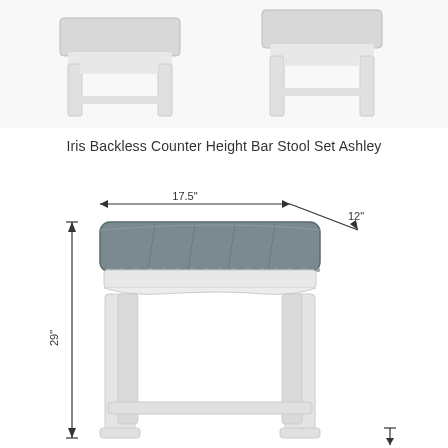[Figure (photo): Two white backless bar stools shown from above/side angle, white painted wood frames]
Iris Backless Counter Height Bar Stool Set Ashley
[Figure (engineering-diagram): Single white backless bar stool with gray tufted upholstered seat with nailhead trim. Dimension annotations: 17.5 inches width, 12 inches depth, 29 inches height.]